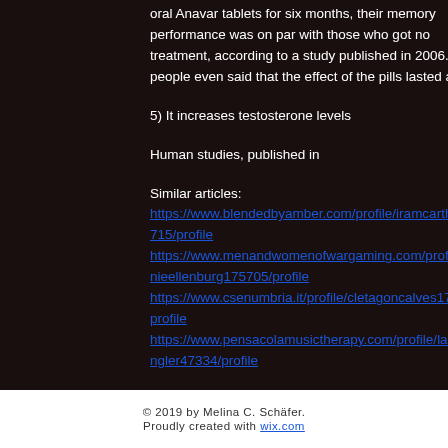oral Anavar tablets for six months, their memory performance was on par with those who got no treatment, according to a study published in 2006. Some people even said that the effect of the pills lasted all day.
5) It increases testosterone levels
Human studies, published in
Similar articles:
https://www.blendedbyamber.com/profile/iramcarthy195715/profile
https://www.menandwomenofwargaming.com/profile/minnieellenburg175705/profile
https://www.csenumbria.it/profile/cletagoncalves171790/profile
https://www.pensacolamusictherapy.com/profile/laticiagangler47334/profile
© 2019 by Melina C. Schäfer. Proudly created with wix.com